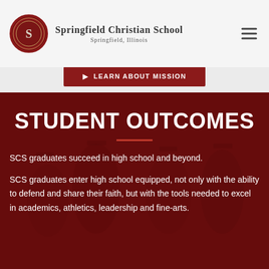[Figure (logo): Springfield Christian School circular logo with stylized S, dark red border]
Springfield Christian School
Springfield, Illinois
[Figure (other): Hamburger menu icon (three horizontal lines)]
[Figure (other): Partially visible red call-to-action button with white text]
[Figure (photo): Background photo of graduating students in caps and gowns with a dark red overlay]
STUDENT OUTCOMES
SCS graduates succeed in high school and beyond.
SCS graduates enter high school equipped, not only with the ability to defend and share their faith, but with the tools needed to excel in academics, athletics, leadership and fine-arts.